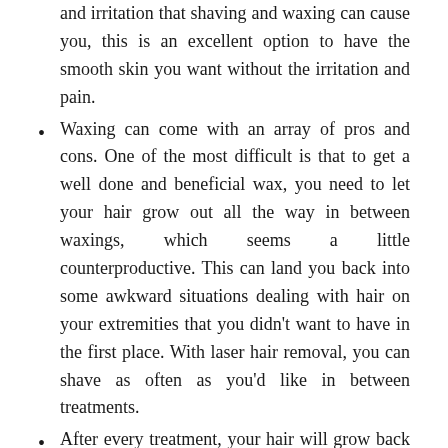and irritation that shaving and waxing can cause you, this is an excellent option to have the smooth skin you want without the irritation and pain.
Waxing can come with an array of pros and cons. One of the most difficult is that to get a well done and beneficial wax, you need to let your hair grow out all the way in between waxings, which seems a little counterproductive. This can land you back into some awkward situations dealing with hair on your extremities that you didn't want to have in the first place. With laser hair removal, you can shave as often as you'd like in between treatments.
After every treatment, your hair will grow back thinner and softer than it was before! So thick patches of hair will be a thing of the past. The effects also last much longer, and your